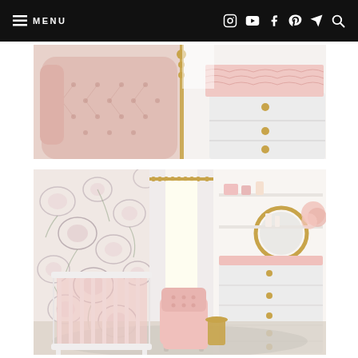MENU (navigation bar with social icons: Instagram, YouTube, Facebook, Pinterest, Send, Search)
[Figure (photo): Close-up of a pink tufted armchair headboard on the left, and a white dresser with gold knobs topped with pink ruffled bedding on the right, with a gold floor lamp in the center background. Nursery room detail shot.]
[Figure (photo): Wide shot of a baby girl nursery room featuring a white crib with pink bedding against a floral wallpaper wall, a pink tufted glider chair with ottoman, a gold side table, a white dresser with gold hardware topped with a round gold-framed mirror, floating shelves with pink decor, and a gray area rug on hardwood floors.]